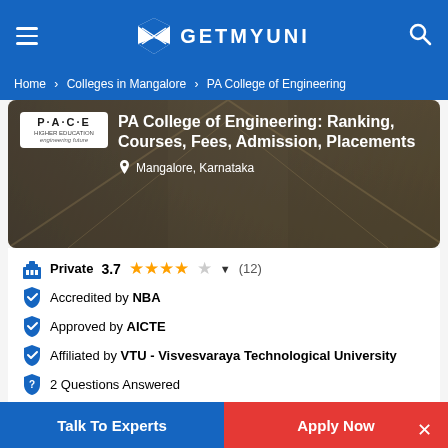GETMYUNI
Home > Colleges in Mangalore > PA College of Engineering
PA College of Engineering: Ranking, Courses, Fees, Admission, Placements
Mangalore, Karnataka
Private  3.7  ★★★★☆  (12)
Accredited by NBA
Approved by AICTE
Affiliated by VTU - Visvesvaraya Technological University
2 Questions Answered
Advertisement
[Figure (screenshot): Alliance University advertisement banner with Rankings & Accolades and Placements sections]
Talk To Experts
Apply Now